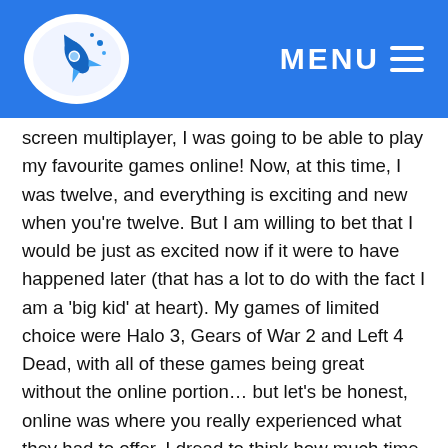[Figure (logo): Oval white logo with a blue rocket/spaceship illustration on a blue navigation header bar]
MENU ☰
screen multiplayer, I was going to be able to play my favourite games online! Now, at this time, I was twelve, and everything is exciting and new when you're twelve. But I am willing to bet that I would be just as excited now if it were to have happened later (that has a lot to do with the fact I am a 'big kid' at heart). My games of limited choice were Halo 3, Gears of War 2 and Left 4 Dead, with all of these games being great without the online portion… but let's be honest, online was where you really experienced what they had to offer. I dread to think how much time I sunk into Halo 3 in particular, although I wouldn't change a moment of it. Playing slayer while parkouring around the wheel in the centre of Zanzibar, being catapulted across the sides of the map in Narrows or sneaking through the corridors in Guardian, my introduction into online gaming was truly fantastic!